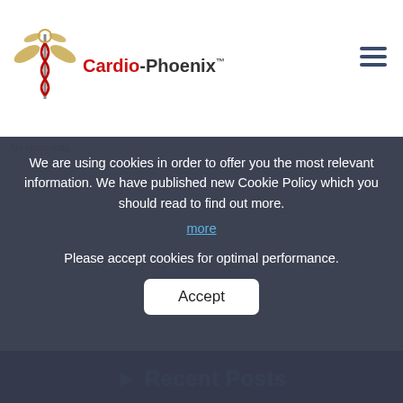[Figure (logo): Cardio-Phoenix logo with caduceus symbol and brand name]
We are using cookies in order to offer you the most relevant information. We have published new Cookie Policy which you should read to find out more. more
Please accept cookies for optimal performance.
Accept
No comments.
Recent Posts
Improving early identification of cardiovascular problems at the point-of-care
Breakthrough Cardiac Diagnostic device reduces wait-times and backlog